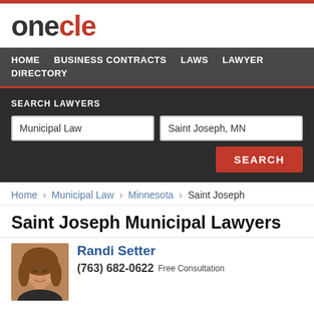[Figure (logo): onecle logo with 'one' in dark gray and 'cle' in red]
HOME  BUSINESS CONTRACTS  LAWS  LAWYER DIRECTORY
SEARCH LAWYERS
Municipal Law | Saint Joseph, MN | SEARCH
Home › Municipal Law › Minnesota › Saint Joseph
Saint Joseph Municipal Lawyers
Randi Setter
(763) 682-0622  Free Consultation